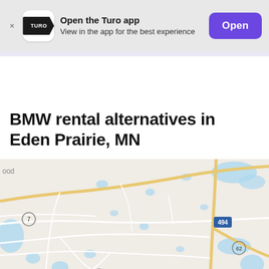[Figure (screenshot): Turo app banner with logo, 'Open the Turo app' text, 'View in the app for the best experience' subtitle, and a purple 'Open' button]
BMW rental alternatives in Eden Prairie, MN
[Figure (map): Map of Eden Prairie, MN area showing roads, highways 494, 62, 7, 101, and water bodies in blue]